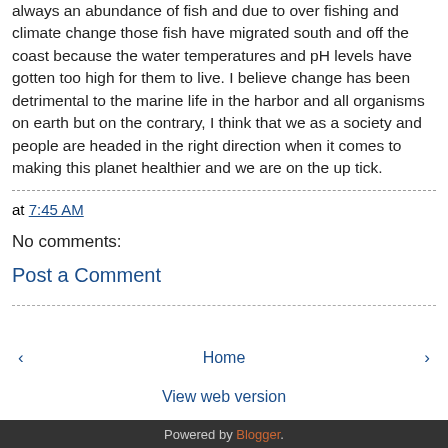always an abundance of fish and due to over fishing and climate change those fish have migrated south and off the coast because the water temperatures and pH levels have gotten too high for them to live. I believe change has been detrimental to the marine life in the harbor and all organisms on earth but on the contrary, I think that we as a society and people are headed in the right direction when it comes to making this planet healthier and we are on the up tick.
at 7:45 AM
No comments:
Post a Comment
‹  Home  ›
View web version
Powered by Blogger.